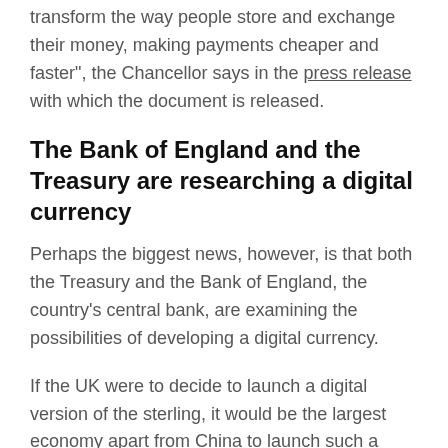transform the way people store and exchange their money, making payments cheaper and faster", the Chancellor says in the press release with which the document is released.
The Bank of England and the Treasury are researching a digital currency
Perhaps the biggest news, however, is that both the Treasury and the Bank of England, the country's central bank, are examining the possibilities of developing a digital currency.
If the UK were to decide to launch a digital version of the sterling, it would be the largest economy apart from China to launch such a